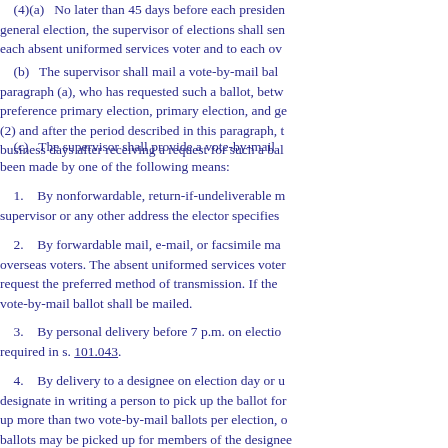(4)(a)   No later than 45 days before each presidential general election, the supervisor of elections shall send each absent uniformed services voter and to each ove
(b)   The supervisor shall mail a vote-by-mail ball paragraph (a), who has requested such a ballot, betwe preference primary election, primary election, and ge (2) and after the period described in this paragraph, th business days after receiving a request for such a ball
(c)   The supervisor shall provide a vote-by-mail b been made by one of the following means:
1.   By nonforwardable, return-if-undeliverable ma supervisor or any other address the elector specifies i
2.   By forwardable mail, e-mail, or facsimile mac overseas voters. The absent uniformed services voter request the preferred method of transmission. If the v vote-by-mail ballot shall be mailed.
3.   By personal delivery before 7 p.m. on election required in s. 101.043.
4.   By delivery to a designee on election day or u designate in writing a person to pick up the ballot for up more than two vote-by-mail ballots per election, o ballots may be picked up for members of the designe "immediate family" means the designee's spouse or t